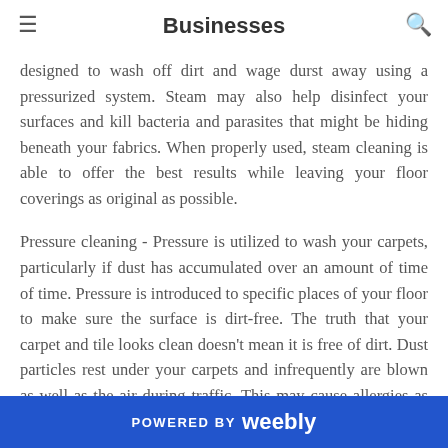Businesses
designed to wash off dirt and wage durst away using a pressurized system. Steam may also help disinfect your surfaces and kill bacteria and parasites that might be hiding beneath your fabrics. When properly used, steam cleaning is able to offer the best results while leaving your floor coverings as original as possible.
Pressure cleaning - Pressure is utilized to wash your carpets, particularly if dust has accumulated over an amount of time of time. Pressure is introduced to specific places of your floor to make sure the surface is dirt-free. The truth that your carpet and tile looks clean doesn't mean it is free of dirt. Dust particles rest under your carpets and infrequently are blown as well as the air during traffic. This may cause allergies as well as other respiratory diseases. Therefore, ensure to hire
POWERED BY weebly